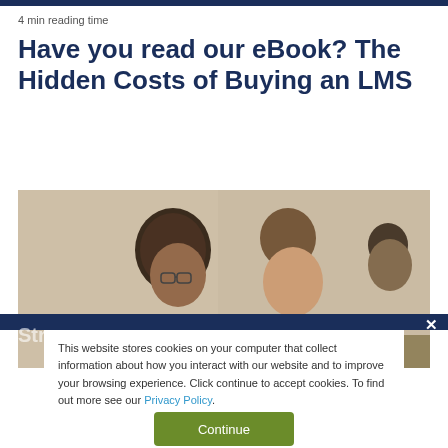4 min reading time
Have you read our eBook? The Hidden Costs of Buying an LMS
[Figure (photo): Three people working together at a desk, looking at a laptop or document. Two women in foreground, one person visible in background.]
This website stores cookies on your computer that collect information about how you interact with our website and to improve your browsing experience. Click continue to accept cookies. To find out more see our Privacy Policy.